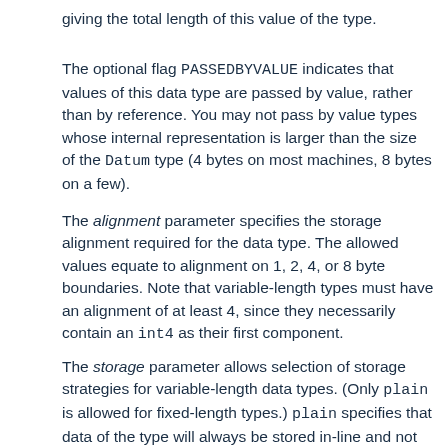giving the total length of this value of the type.
The optional flag PASSEDBYVALUE indicates that values of this data type are passed by value, rather than by reference. You may not pass by value types whose internal representation is larger than the size of the Datum type (4 bytes on most machines, 8 bytes on a few).
The alignment parameter specifies the storage alignment required for the data type. The allowed values equate to alignment on 1, 2, 4, or 8 byte boundaries. Note that variable-length types must have an alignment of at least 4, since they necessarily contain an int4 as their first component.
The storage parameter allows selection of storage strategies for variable-length data types. (Only plain is allowed for fixed-length types.) plain specifies that data of the type will always be stored in-line and not